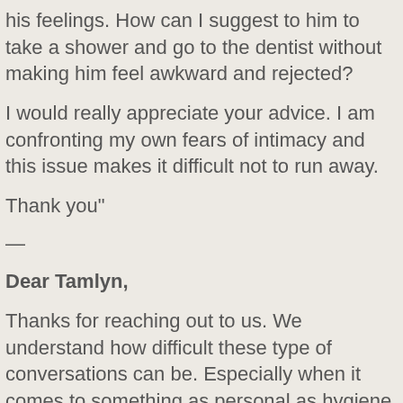his feelings. How can I suggest to him to take a shower and go to the dentist without making him feel awkward and rejected?
I would really appreciate your advice. I am confronting my own fears of intimacy and this issue makes it difficult not to run away.
Thank you"
—
Dear Tamlyn,
Thanks for reaching out to us. We understand how difficult these type of conversations can be. Especially when it comes to something as personal as hygiene.
Taking care of yourself is an act of self love. Making